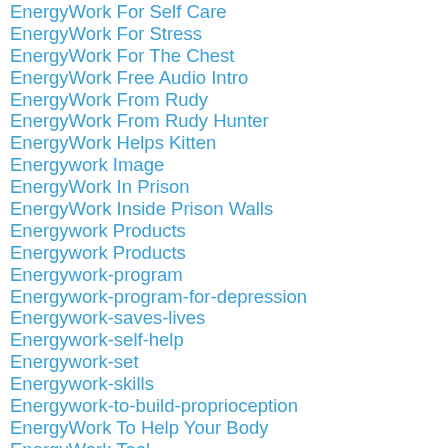EnergyWork For Self Care
EnergyWork For Stress
EnergyWork For The Chest
EnergyWork Free Audio Intro
EnergyWork From Rudy
EnergyWork From Rudy Hunter
EnergyWork Helps Kitten
Energywork Image
EnergyWork In Prison
EnergyWork Inside Prison Walls
Energywork Products
Energywork Products
Energywork-program
Energywork-program-for-depression
Energywork-saves-lives
Energywork-self-help
Energywork-set
Energywork-skills
Energywork-to-build-proprioception
EnergyWork To Help Your Body
EnergyWork Tool